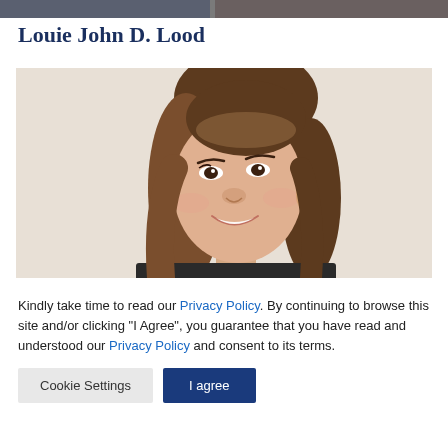[Figure (photo): Horizontal image strip at top of page, appears to be a partial cropped photo bar]
Louie John D. Lood
[Figure (photo): Professional headshot of a young Asian woman smiling, wearing dark clothing, photographed against a light beige/cream background]
Kindly take time to read our Privacy Policy. By continuing to browse this site and/or clicking “I Agree”, you guarantee that you have read and understood our Privacy Policy and consent to its terms.
Cookie Settings | I agree